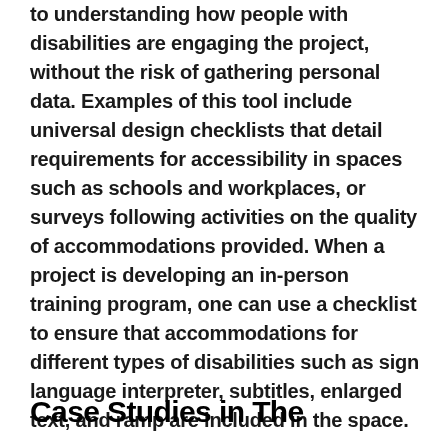to understanding how people with disabilities are engaging the project, without the risk of gathering personal data. Examples of this tool include universal design checklists that detail requirements for accessibility in spaces such as schools and workplaces, or surveys following activities on the quality of accommodations provided. When a project is developing an in-person training program, one can use a checklist to ensure that accommodations for different types of disabilities such as sign language interpreter, subtitles, enlarged text, and ramp are included in the space.
Case Studies in The